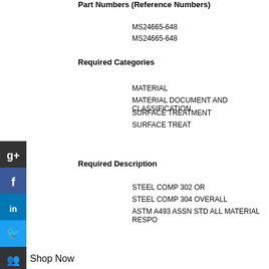Part Numbers (Reference Numbers)
MS24665-648
MS24665-648
Required Categories
MATERIAL
MATERIAL DOCUMENT AND CLASSIFICATION
SURFACE TREATMENT
SURFACE TREAT
Required Description
STEEL COMP 302 OR
STEEL COMP 304 OVERALL
ASTM A493 ASSN STD ALL MATERIAL RESPO
Shop Now